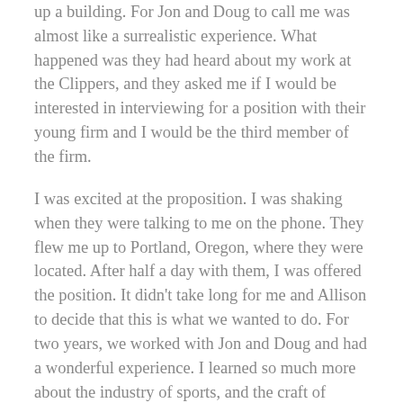up a building. For Jon and Doug to call me was almost like a surrealistic experience. What happened was they had heard about my work at the Clippers, and they asked me if I would be interested in interviewing for a position with their young firm and I would be the third member of the firm.
I was excited at the proposition. I was shaking when they were talking to me on the phone. They flew me up to Portland, Oregon, where they were located. After half a day with them, I was offered the position. It didn't take long for me and Allison to decide that this is what we wanted to do. For two years, we worked with Jon and Doug and had a wonderful experience. I learned so much more about the industry of sports, and the craft of selling and marketing teams. I then decided it was time for me to start Game Face because I wanted to produce a